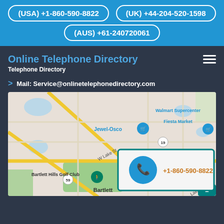(USA) +1-860-590-8822   (UK) +44-204-520-1598   (AUS) +61-240720061
Online Telephone Directory
Telephone Directory
Mail: Service@onlinetelephonedirectory.com
[Figure (map): Google Maps view showing Bartlett area with roads including W Lake St, Route 19, Route 20, Route 59. Landmarks include Walmart Supercenter, Fiesta Market, Jewel-Osco, Bartlett Hills Golf Club. An overlay card shows a phone icon and +1-860-590-8822.]